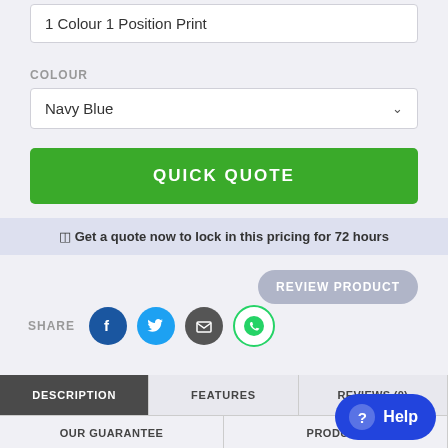1 Colour 1 Position Print
COLOUR
Navy Blue
QUICK QUOTE
Get a quote now to lock in this pricing for 72 hours
REVIEW PRODUCT
SHARE
DESCRIPTION
FEATURES
REVIEWS (0)
OUR GUARANTEE
PRODUCT
? Help